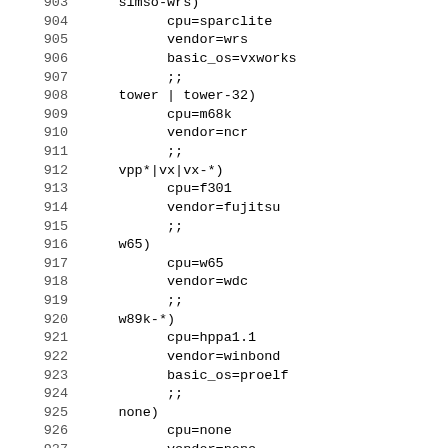Code listing lines 903-933: shell script case statement entries for various CPU/vendor configurations